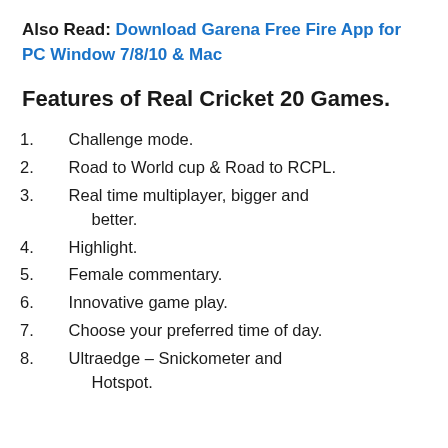Also Read: Download Garena Free Fire App for PC Window 7/8/10 & Mac
Features of Real Cricket 20 Games.
1. Challenge mode.
2. Road to World cup & Road to RCPL.
3. Real time multiplayer, bigger and better.
4. Highlight.
5. Female commentary.
6. Innovative game play.
7. Choose your preferred time of day.
8. Ultraedge – Snickometer and Hotspot.